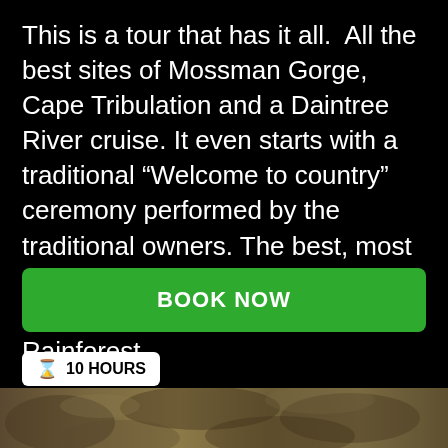This is a tour that has it all.  All the best sites of Mossman Gorge, Cape Tribulation and a Daintree River cruise. It even starts with a traditional “Welcome to country” ceremony performed by the traditional owners. The best, most respectful and appropriate way to start your day in the Daintree Rainforest.
BOOK NOW
10 HOURS
[Figure (photo): Bottom portion of a nature/rainforest photo, partially visible at the bottom of the page]